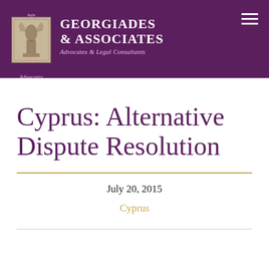Juris — GEORGIADES & ASSOCIATES — Advocates & Legal Consultants — Advocates
Cyprus: Alternative Dispute Resolution
July 20, 2015
Cyprus